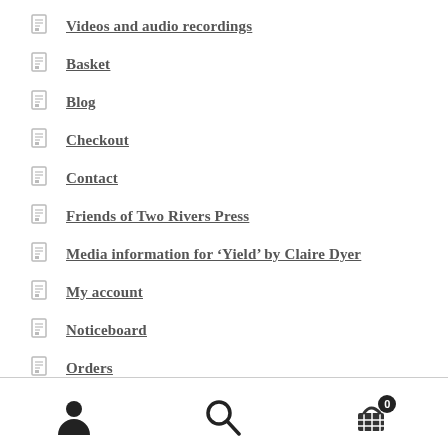Videos and audio recordings
Basket
Blog
Checkout
Contact
Friends of Two Rivers Press
Media information for ‘Yield’ by Claire Dyer
My account
Noticeboard
Orders
RiversSide